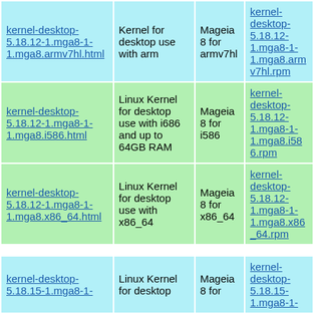| Link | Description | Distro | RPM Link |
| --- | --- | --- | --- |
| kernel-desktop-5.18.12-1.mga8-1-1.mga8.armv7hl.html | Kernel for desktop use with arm | Mageia 8 for armv7hl | kernel-desktop-5.18.12-1.mga8-1-1.mga8.armv7hl.rpm |
| kernel-desktop-5.18.12-1.mga8-1-1.mga8.i586.html | Linux Kernel for desktop use with i686 and up to 64GB RAM | Mageia 8 for i586 | kernel-desktop-5.18.12-1.mga8-1-1.mga8.i586.rpm |
| kernel-desktop-5.18.12-1.mga8-1-1.mga8.x86_64.html | Linux Kernel for desktop use with x86_64 | Mageia 8 for x86_64 | kernel-desktop-5.18.12-1.mga8-1-1.mga8.x86_64.rpm |
| kernel-desktop-5.18.15-1.mga8-1-... | Linux Kernel for desktop ... | Mageia 8 for ... | kernel-desktop-5.18.15-1.mga8-1-... |